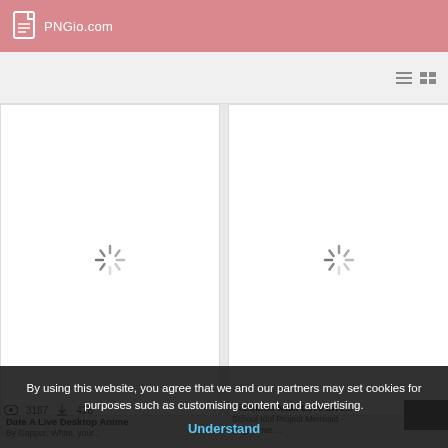PNGio.com
[Figure (screenshot): Loading spinner on white card background (left card)]
[Figure (screenshot): Loading spinner on white card background (right card)]
Date A Live Desktop Anime
By Gappur, White, your...
Nishikino Maki Love Live...
School Idol Project Mermaid - Pngs Love ...
3187  426
By using this website, you agree that we and our partners may set cookies for purposes such as customising content and advertising.
Understand